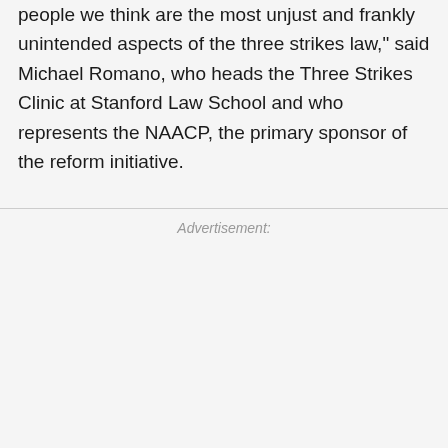"This current reform is more narrowly tailored to target people we think are the most unjust and frankly unintended aspects of the three strikes law," said Michael Romano, who heads the Three Strikes Clinic at Stanford Law School and who represents the NAACP, the primary sponsor of the reform initiative.
Advertisement: